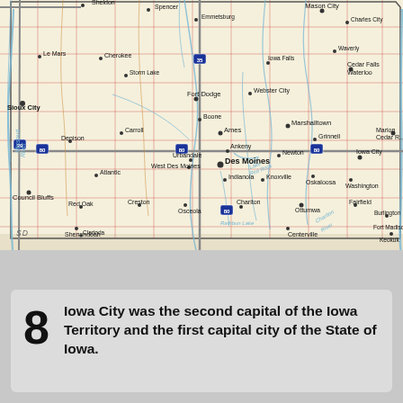[Figure (map): Road map of the state of Iowa showing cities, counties, interstate highways, rivers, and neighboring states (Nebraska, Missouri, South Dakota). Major cities labeled include Des Moines, Iowa City, Cedar Falls, Waterloo, Sioux City, Davenport, Ames, Council Bluffs, Dubuque, and many others. Rivers shown in blue, county borders in red, interstates marked with shields.]
8 Iowa City was the second capital of the Iowa Territory and the first capital city of the State of Iowa.